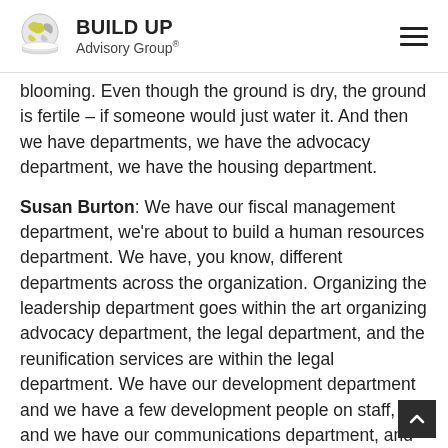BUILD UP Advisory Group
blooming. Even though the ground is dry, the ground is fertile – if someone would just water it. And then we have departments, we have the advocacy department, we have the housing department.
Susan Burton: We have our fiscal management department, we're about to build a human resources department. We have, you know, different departments across the organization. Organizing the leadership department goes within the art organizing advocacy department, the legal department, and the reunification services are within the legal department. We have our development department and we have a few development people on staff, and we have our communications department, and then our